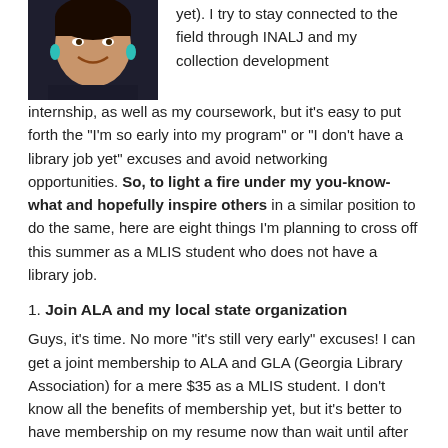[Figure (photo): Photo of a smiling woman with teal earrings against a dark background]
yet). I try to stay connected to the field through INALJ and my collection development internship, as well as my coursework, but it's easy to put forth the “I’m so early into my program” or “I don’t have a library job yet” excuses and avoid networking opportunities. So, to light a fire under my you-know-what and hopefully inspire others in a similar position to do the same, here are eight things I’m planning to cross off this summer as a MLIS student who does not have a library job.
1. Join ALA and my local state organization
Guys, it’s time. No more “it’s still very early” excuses! I can get a joint membership to ALA and GLA (Georgia Library Association) for a mere $35 as a MLIS student. I don’t know all the benefits of membership yet, but it’s better to have membership on my resume now than wait until after I’ve graduated!
2. Register for the ALA Virtual Conference